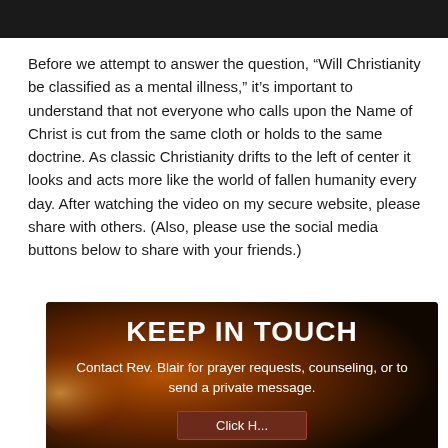[Figure (other): Black header bar at top of page]
Before we attempt to answer the question, “Will Christianity be classified as a mental illness,” it’s important to understand that not everyone who calls upon the Name of Christ is cut from the same cloth or holds to the same doctrine. As classic Christianity drifts to the left of center it looks and acts more like the world of fallen humanity every day. After watching the video on my secure website, please share with others. (Also, please use the social media buttons below to share with your friends.)
[Figure (infographic): Dark brown/orange gradient banner with 'KEEP IN TOUCH' heading, subtitle 'Contact Rev. Blair for prayer requests, counseling, or to send a private message.' and a partially visible button labeled 'Click H...']